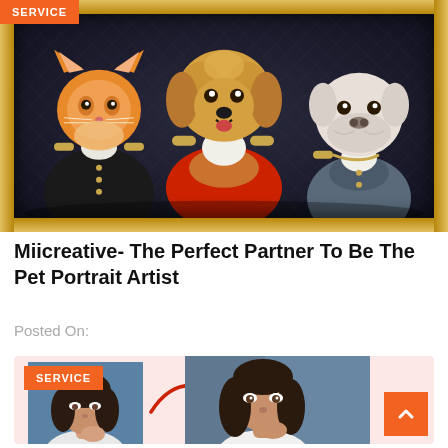[Figure (illustration): Royal pet portrait painting in a gold ornate frame showing three pets (orange cat, golden doodle dog, white bulldog) dressed in royal military costumes against a dark textured background. Orange SERVICE badge in top-left corner.]
Miicreative- The Perfect Partner To Be The Pet Portrait Artist
Posted On:
[Figure (illustration): A before-and-after photo editing service card with pink/salmon background, SERVICE badge top-left, showing a small photo of a woman on the left and a larger edited portrait on the right connected by a red curved arrow. Orange scroll-to-top button at bottom right.]